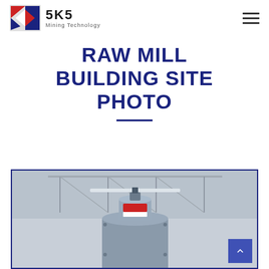SKS Mining Technology
RAW MILL BUILDING SITE PHOTO
[Figure (photo): Interior construction site photo showing industrial equipment — a large cylindrical mill component with red and white markings at the top, hanging or mounted inside a building with steel roof trusses visible in the background.]